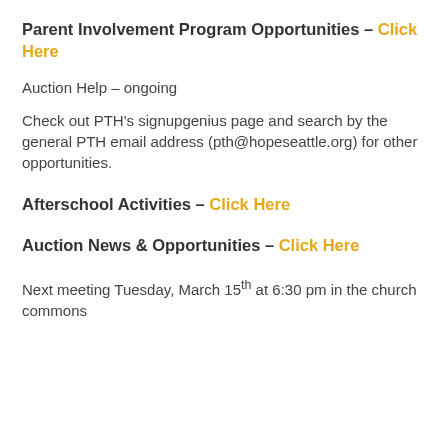Parent Involvement Program Opportunities – Click Here
Auction Help – ongoing
Check out PTH's signupgenius page and search by the general PTH email address (pth@hopeseattle.org) for other opportunities.
Afterschool Activities – Click Here
Auction News & Opportunities – Click Here
Next meeting Tuesday, March 15th at 6:30 pm in the church commons